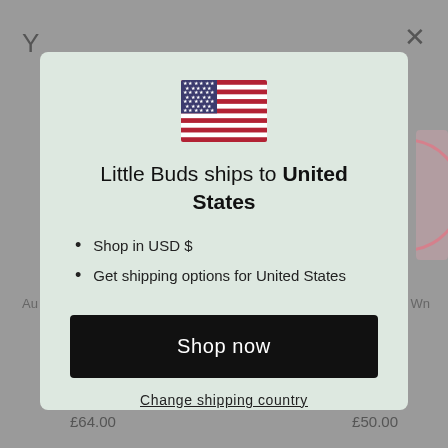[Figure (screenshot): Background webpage with greyed-out content showing letter Y top-left, X close button top-right, partial product images and prices]
[Figure (illustration): United States flag SVG illustration]
Little Buds ships to United States
Shop in USD $
Get shipping options for United States
Shop now
Change shipping country